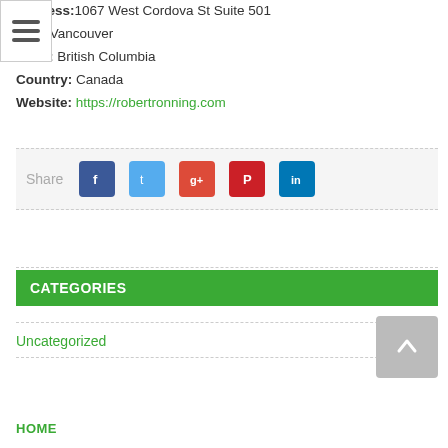Address: 1067 West Cordova St Suite 501
City: Vancouver
State: British Columbia
Country: Canada
Website: https://robertronning.com
Share
CATEGORIES
Uncategorized
HOME